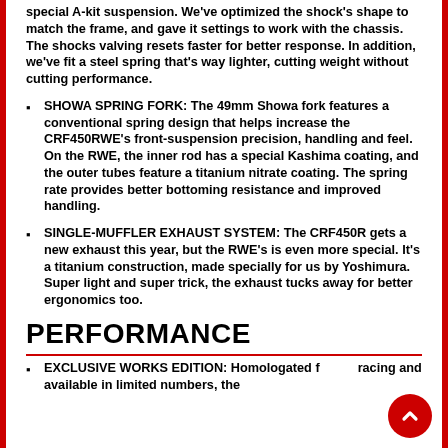special A-kit suspension. We've optimized the shock's shape to match the frame, and gave it settings to work with the chassis. The shocks valving resets faster for better response. In addition, we've fit a steel spring that's way lighter, cutting weight without cutting performance.
SHOWA SPRING FORK: The 49mm Showa fork features a conventional spring design that helps increase the CRF450RWE's front-suspension precision, handling and feel. On the RWE, the inner rod has a special Kashima coating, and the outer tubes feature a titanium nitrate coating. The spring rate provides better bottoming resistance and improved handling.
SINGLE-MUFFLER EXHAUST SYSTEM: The CRF450R gets a new exhaust this year, but the RWE's is even more special. It's a titanium construction, made specially for us by Yoshimura. Super light and super trick, the exhaust tucks away for better ergonomics too.
PERFORMANCE
EXCLUSIVE WORKS EDITION: Homologated for racing and available in limited numbers, the